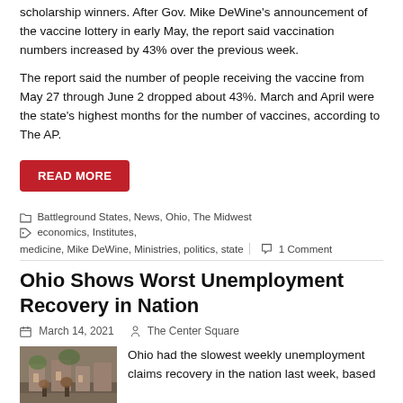scholarship winners. After Gov. Mike DeWine's announcement of the vaccine lottery in early May, the report said vaccination numbers increased by 43% over the previous week.
The report said the number of people receiving the vaccine from May 27 through June 2 dropped about 43%. March and April were the state's highest months for the number of vaccines, according to The AP.
READ MORE
Battleground States, News, Ohio, The Midwest   economics, Institutes, medicine, Mike DeWine, Ministries, politics, state   1 Comment
Ohio Shows Worst Unemployment Recovery in Nation
March 14, 2021   The Center Square
[Figure (photo): Building exterior with people, brick architecture]
Ohio had the slowest weekly unemployment claims recovery in the nation last week, based